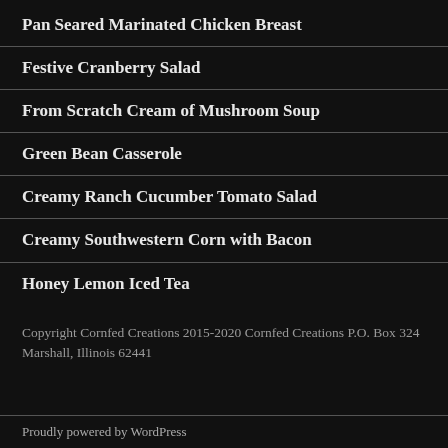Pan Seared Marinated Chicken Breast
Festive Cranberry Salad
From Scratch Cream of Mushroom Soup
Green Bean Casserole
Creamy Ranch Cucumber Tomato Salad
Creamy Southwestern Corn with Bacon
Honey Lemon Iced Tea
Copyright Cornfed Creations 2015-2020 Cornfed Creations P.O. Box 324 Marshall, Illinois 62441
Proudly powered by WordPress